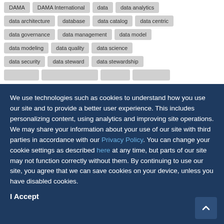DAMA
DAMA International
data
data analytics
data architecture
database
data catalog
data centric
data governance
data management
data model
data modeling
data quality
data science
data security
data steward
data stewardship
We use technologies such as cookies to understand how you use our site and to provide a better user experience. This includes personalizing content, using analytics and improving site operations. We may share your information about your use of our site with third parties in accordance with our Privacy Policy. You can change your cookie settings as described here at any time, but parts of our site may not function correctly without them. By continuing to use our site, you agree that we can save cookies on your device, unless you have disabled cookies.
I Accept